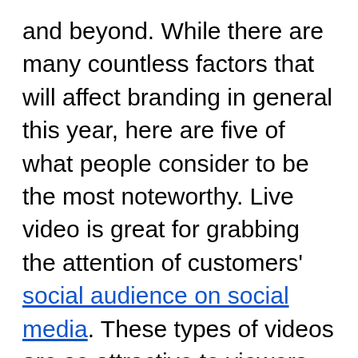and beyond. While there are many countless factors that will affect branding in general this year, here are five of what people consider to be the most noteworthy. Live video is great for grabbing the attention of customers' social audience on social media. These types of videos are so attractive to viewers because they tap into fear of missing out. When users are not sure if a live video is going to contain a tidbit of information that users cannot get anywhere else, or it will mean you're the first to find out about some new and exciting news, you're going to want to watch it.